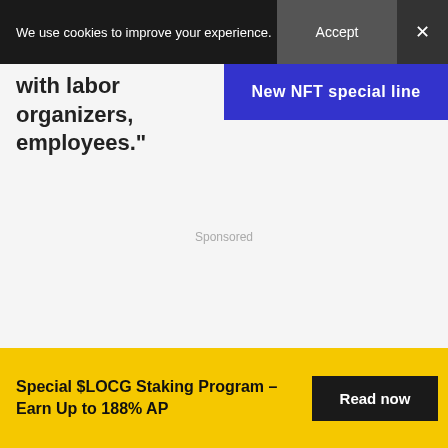We use cookies to improve your experience.
[Figure (infographic): Blue NFT special line banner advertisement]
with labor organizers, employees."
Sponsored
[Figure (infographic): Yellow bottom advertisement banner: Special $LOCG Staking Program – Earn Up to 188% AP with Read now button]